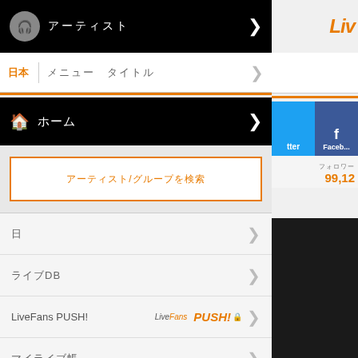[Figure (screenshot): Black navigation bar with chef/speaker icon and Japanese text, with right arrow]
ホーム（Japanese navigation label with separator and text）
[Figure (logo): LiveFans brand logo in orange italic text on right sidebar]
[Figure (screenshot): Black home navigation bar with house icon and Japanese text]
アーティスト/グループを検索 (search/input placeholder)
日 (Japanese menu item)
ライブDB (Japanese menu item)
LiveFans PUSH!
マイライブ帳 (Japanese menu item)
ランキング (Japanese menu item)
その他 (Japanese menu item, partially visible)
[Figure (screenshot): Twitter and Facebook social buttons in sidebar]
フォロワー数 99,12...